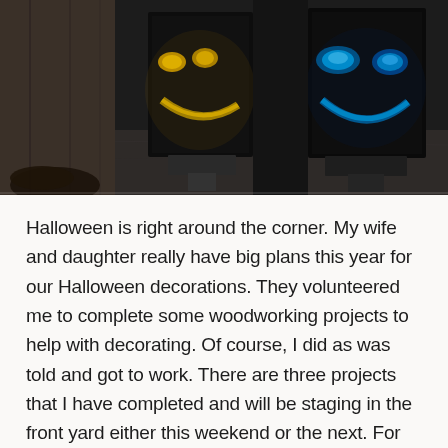[Figure (photo): Photo of two black wooden lantern decorations with glowing jack-o-lantern faces. The left lantern has yellow/orange glowing eyes and mouth, the right has blue glowing eyes and mouth. Both sit on a concrete surface. A person's foot/shoe is partially visible on the left.]
Halloween is right around the corner. My wife and daughter really have big plans this year for our Halloween decorations. They volunteered me to complete some woodworking projects to help with decorating. Of course, I did as was told and got to work. There are three projects that I have completed and will be staging in the front yard either this weekend or the next. For each project, we will have a post on the BLOG, with details of the build, and a video on our YouTube channel